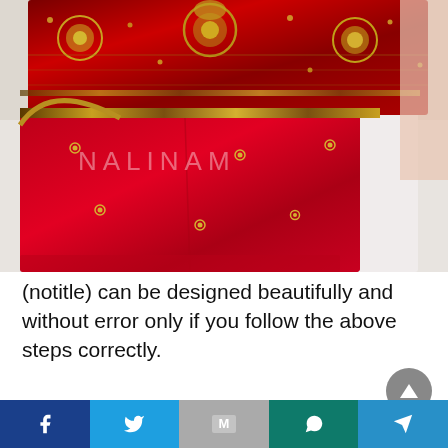[Figure (photo): Photo of a red embroidered Indian blouse (choli/maggam work) with gold/bronze embroidery on a decorative band across the top and scattered small gold studs on the red fabric body. A watermark reading 'NALINAM' is visible on the fabric. The background is off-white.]
(notitle) can be designed beautifully and without error only if you follow the above steps correctly.
(notitle) protection method
[Figure (screenshot): Social media sharing bar at the bottom with buttons for Facebook, Twitter, Gmail/Email, WhatsApp, and Telegram]